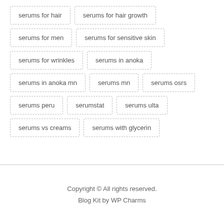serums for hair
serums for hair growth
serums for men
serums for sensitive skin
serums for wrinkles
serums in anoka
serums in anoka mn
serums mn
serums osrs
serums peru
serumstat
serums ulta
serums vs creams
serums with glycerin
Copyright © All rights reserved.
Blog Kit by WP Charms